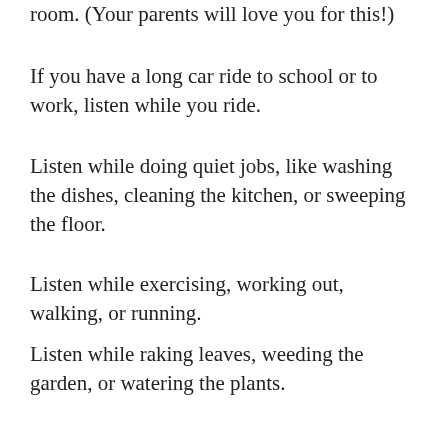room. (Your parents will love you for this!)
If you have a long car ride to school or to work, listen while you ride.
Listen while doing quiet jobs, like washing the dishes, cleaning the kitchen, or sweeping the floor.
Listen while exercising, working out, walking, or running.
Listen while raking leaves, weeding the garden, or watering the plants.
Listen while walking the dog.  Listen while washing the cat.  On second thought... perhaps it's best not to listen while washing the cat.